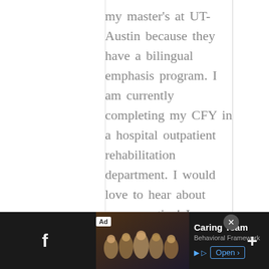my master's at UT- Austin because they have a bilingual emphasis program. I am currently completing my CFY in a hospital outpatient rehabilitation department. I would love to hear about your practice! I recently realized how much I love working with families and my 0-3 population, and I am considering becoming certified in the Hanen
[Figure (screenshot): An advertisement banner at the bottom of the page for 'Caring Team - Behavioral Framework'. Shows a group photo on the left, text in the middle, and an Open button on the right. Facebook icon on far left and plus icon on far right.]